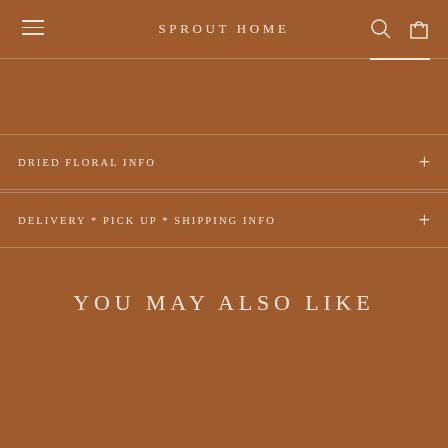SPROUT HOME
DRIED FLORAL INFO
DELIVERY * PICK UP * SHIPPING INFO
YOU MAY ALSO LIKE